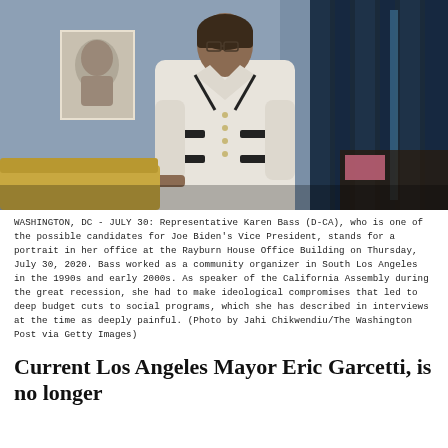[Figure (photo): A woman (Representative Karen Bass) in a white blazer with black trim stands in her office. Behind her is a blue wall with a framed portrait drawing, and dark blue curtains to the right. A yellow upholstered chair arm is visible at lower left.]
WASHINGTON, DC - JULY 30: Representative Karen Bass (D-CA), who is one of the possible candidates for Joe Biden's Vice President, stands for a portrait in her office at the Rayburn House Office Building on Thursday, July 30, 2020. Bass worked as a community organizer in South Los Angeles in the 1990s and early 2000s. As speaker of the California Assembly during the great recession, she had to make ideological compromises that led to deep budget cuts to social programs, which she has described in interviews at the time as deeply painful. (Photo by Jahi Chikwendiu/The Washington Post via Getty Images)
Current Los Angeles Mayor Eric Garcetti, is no longer